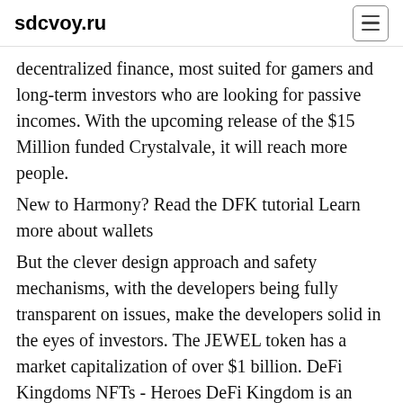sdcvoy.ru
decentralized finance, most suited for gamers and long-term investors who are looking for passive incomes. With the upcoming release of the $15 Million funded Crystalvale, it will reach more people.
New to Harmony? Read the DFK tutorial Learn more about wallets
But the clever design approach and safety mechanisms, with the developers being fully transparent on issues, make the developers solid in the eyes of investors. The JEWEL token has a market capitalization of over $1 billion. DeFi Kingdoms NFTs - Heroes DeFi Kingdom is an NFT store. The NFTs is the store on the…